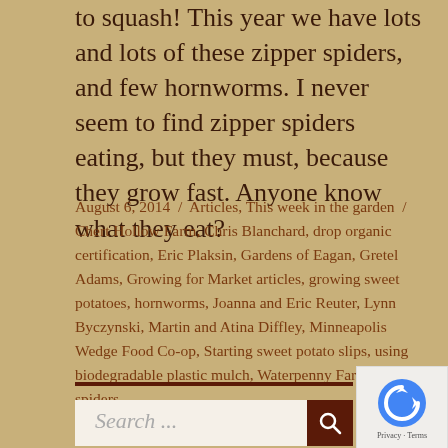to squash! This year we have lots and lots of these zipper spiders, and few hornworms. I never seem to find zipper spiders eating, but they must, because they grow fast. Anyone know what they eat?
August 6, 2014 / Articles, This week in the garden / Chert Hollow Farm, Chris Blanchard, drop organic certification, Eric Plaksin, Gardens of Eagan, Gretel Adams, Growing for Market articles, growing sweet potatoes, hornworms, Joanna and Eric Reuter, Lynn Byczynski, Martin and Atina Diffley, Minneapolis Wedge Food Co-op, Starting sweet potato slips, using biodegradable plastic mulch, Waterpenny Farm, zipper spiders
Search ...